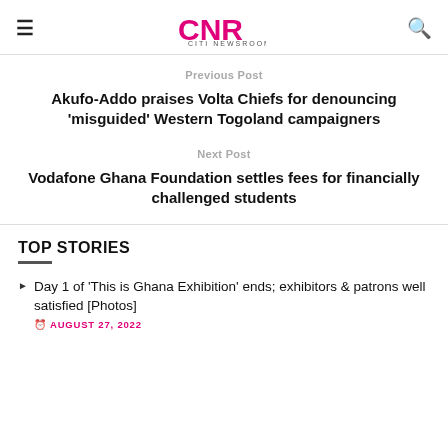CNR CITI NEWSROOM
Previous Post
Akufo-Addo praises Volta Chiefs for denouncing 'misguided' Western Togoland campaigners
Next Post
Vodafone Ghana Foundation settles fees for financially challenged students
TOP STORIES
Day 1 of 'This is Ghana Exhibition' ends; exhibitors & patrons well satisfied [Photos]
AUGUST 27, 2022